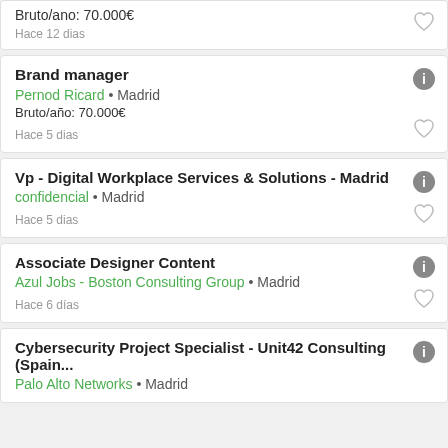Bruto/ano: 70.000€
Hace 12 dias
Brand manager
Pernod Ricard • Madrid
Bruto/año: 70.000€
Hace 5 dias
Vp - Digital Workplace Services & Solutions - Madrid
confidencial • Madrid
Hace 5 dias
Associate Designer Content
Azul Jobs - Boston Consulting Group • Madrid
Hace 6 días
Cybersecurity Project Specialist - Unit42 Consulting (Spain...
Palo Alto Networks • Madrid